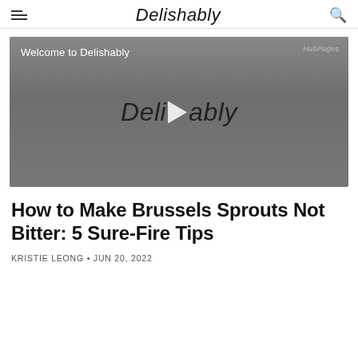Delishably
[Figure (screenshot): Video player thumbnail with gray background showing 'Welcome to Delishably' text and Delishably cursive logo with play button in center. HubPages watermark in top right.]
How to Make Brussels Sprouts Not Bitter: 5 Sure-Fire Tips
KRISTIE LEONG • JUN 20, 2022